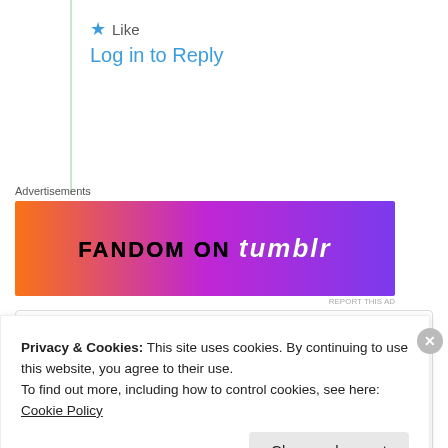★ Like
Log in to Reply
[Figure (screenshot): Fandom on Tumblr advertisement banner with orange to purple gradient]
REPORT THIS AD
tkbrown
24th Aug 2021 at 9:59 am
Privacy & Cookies: This site uses cookies. By continuing to use this website, you agree to their use.
To find out more, including how to control cookies, see here: Cookie Policy
Close and accept